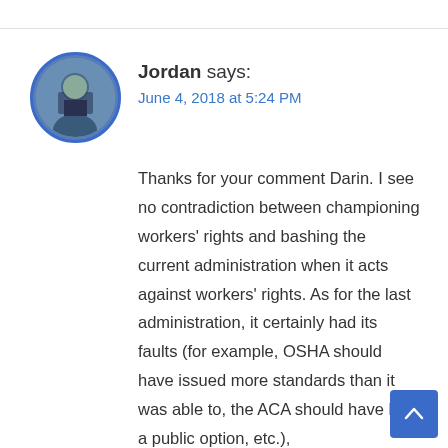[Figure (photo): Circular avatar photo of Jordan, showing a man in a dark suit, with a blue circular border]
Jordan says:
June 4, 2018 at 5:24 PM
Thanks for your comment Darin. I see no contradiction between championing workers' rights and bashing the current administration when it acts against workers' rights. As for the last administration, it certainly had its faults (for example, OSHA should have issued more standards than it was able to, the ACA should have had a public option, etc.),